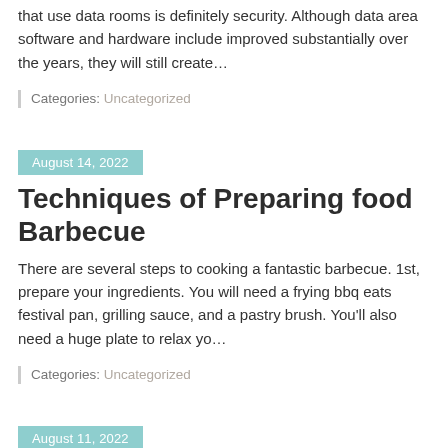that use data rooms is definitely security. Although data area software and hardware include improved substantially over the years, they will still create…
Categories: Uncategorized
August 14, 2022
Techniques of Preparing food Barbecue
There are several steps to cooking a fantastic barbecue. 1st, prepare your ingredients. You will need a frying bbq eats festival pan, grilling sauce, and a pastry brush. You'll also need a huge plate to relax yo…
Categories: Uncategorized
August 11, 2022
Ways to Measure Board Meeting Efficiency